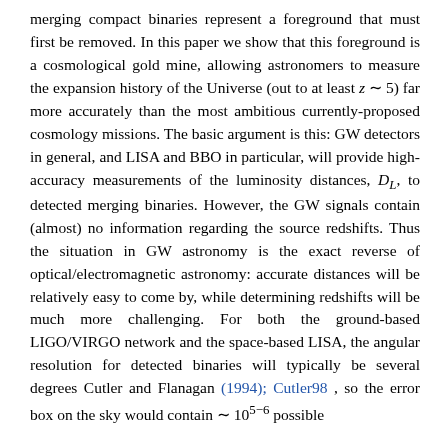merging compact binaries represent a foreground that must first be removed. In this paper we show that this foreground is a cosmological gold mine, allowing astronomers to measure the expansion history of the Universe (out to at least z ~ 5) far more accurately than the most ambitious currently-proposed cosmology missions. The basic argument is this: GW detectors in general, and LISA and BBO in particular, will provide high-accuracy measurements of the luminosity distances, D_L, to detected merging binaries. However, the GW signals contain (almost) no information regarding the source redshifts. Thus the situation in GW astronomy is the exact reverse of optical/electromagnetic astronomy: accurate distances will be relatively easy to come by, while determining redshifts will be much more challenging. For both the ground-based LIGO/VIRGO network and the space-based LISA, the angular resolution for detected binaries will typically be several degrees Cutler and Flanagan (1994); Cutler98 , so the error box on the sky would contain ~ 10^{5-6} possible